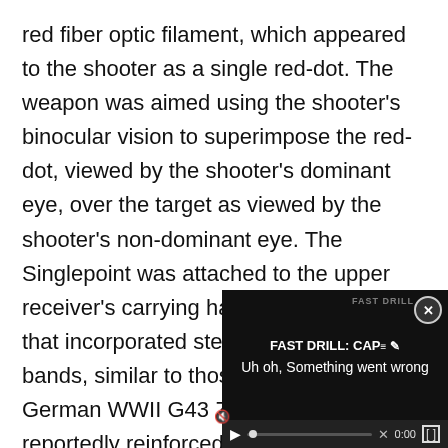red fiber optic filament, which appeared to the shooter as a single red-dot. The weapon was aimed using the shooter's binocular vision to superimpose the red-dot, viewed by the shooter's dominant eye, over the target as viewed by the shooter's non-dominant eye. The Singlepoint was attached to the upper receiver's carrying handle using a mount that incorporated steel strap retention bands, similar to those used on the German WWII G43 ZF4 scope mount — reportedly reinforced with black electrical tape. The Son Tay Raid was the first docume[nted use by a] SOF team using a red-dot[...]
[Figure (screenshot): Video player overlay showing error state. Title: 'FAST DRILL: CAP...' with text 'Uh oh, Something went wrong'. Controls show muted speaker, play button, progress bar, X mark, 0:00 timestamp, and fullscreen button. Close (x) button in top right corner.]
The reproduction of the Co[...]